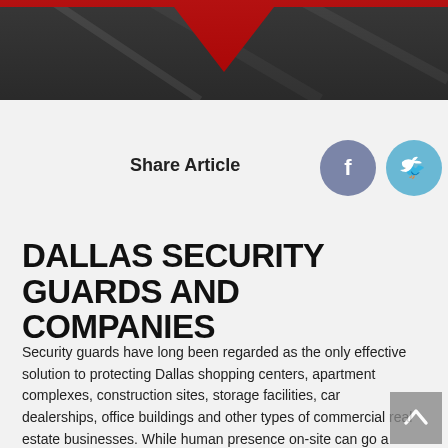[Figure (photo): Dark background image at the top with a red chevron/diamond shape overlay pointing downward in the center]
Share Article
[Figure (infographic): Social share buttons: Facebook (purple-gray circle with f), Twitter (light blue circle with bird), LinkedIn (teal circle with in)]
DALLAS SECURITY GUARDS AND COMPANIES
Security guards have long been regarded as the only effective solution to protecting Dallas shopping centers, apartment complexes, construction sites, storage facilities, car dealerships, office buildings and other types of commercial real estate businesses. While human presence on-site can go a long way in keeping criminals at bay, it may not be the most cost-effective